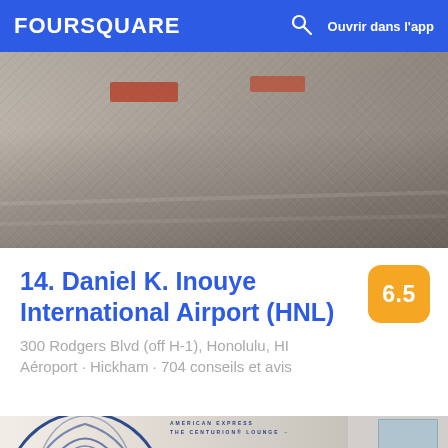FOURSQUARE   Ouvrir dans l'app
[Figure (photo): Top photo showing an interior airport corridor with gravel/textured floor and reddish objects visible overhead]
14. Daniel K. Inouye International Airport (HNL)
6.5
300 Rodgers Blvd (off H-1), Honolulu, HI
Aéroport · Hickham · 704 conseils et avis
[Figure (photo): Bottom photo showing the American Express The Centurion Lounge entrance with the Centurion helmet logo on the wall]